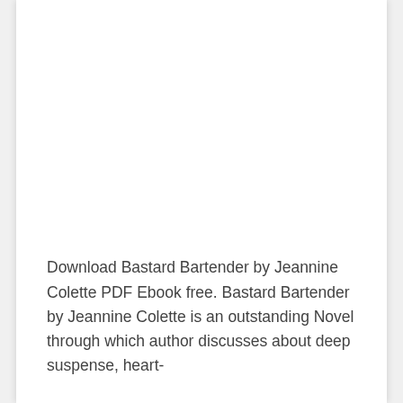Download Bastard Bartender by Jeannine Colette PDF Ebook free. Bastard Bartender by Jeannine Colette is an outstanding Novel through which author discusses about deep suspense, heart-